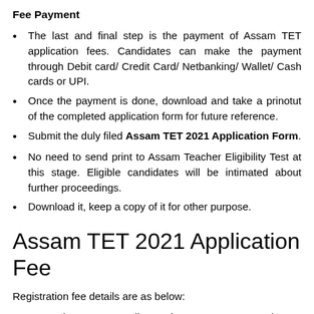Fee Payment
The last and final step is the payment of Assam TET application fees. Candidates can make the payment through Debit card/ Credit Card/ Netbanking/ Wallet/ Cash cards or UPI.
Once the payment is done, download and take a prinotut of the completed application form for future reference.
Submit the duly filed Assam TET 2021 Application Form.
No need to send print to Assam Teacher Eligibility Test at this stage. Eligible candidates will be intimated about further proceedings.
Download it, keep a copy of it for other purpose.
Assam TET 2021 Application Fee
Registration fee details are as below:
General category applicants have to pay Rs 325/- as